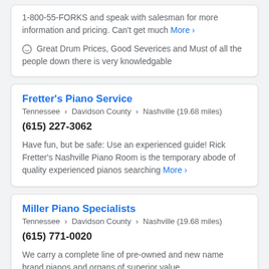1-800-55-FORKS and speak with salesman for more information and pricing. Can't get much More ›
◯ Great Drum Prices, Good Severices and Must of all the people down there is very knowledgable
Fretter's Piano Service
Tennessee › Davidson County › Nashville (19.68 miles)
(615) 227-3062
Have fun, but be safe: Use an experienced guide! Rick Fretter's Nashville Piano Room is the temporary abode of quality experienced pianos searching More ›
Miller Piano Specialists
Tennessee › Davidson County › Nashville (19.68 miles)
(615) 771-0020
We carry a complete line of pre-owned and new name brand pianos and organs of superior value.